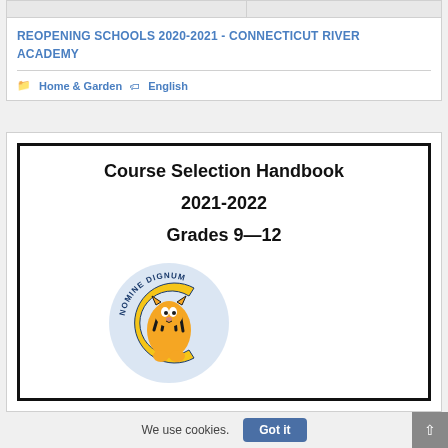REOPENING SCHOOLS 2020-2021 - CONNECTICUT RIVER ACADEMY
Home & Garden   English
[Figure (illustration): Course Selection Handbook 2021-2022 Grades 9-12, featuring a tiger mascot logo with 'NOMINE DIGNUM' text in a circular emblem. The logo shows a blue and gold tiger.]
We use cookies.